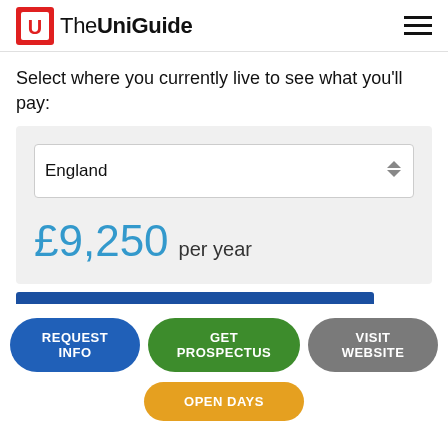The UniGuide
Select where you currently live to see what you'll pay:
[Figure (screenshot): A dropdown selector showing 'England' with up/down arrows, followed by a fee display of £9,250 per year on a gray background]
REQUEST INFO | GET PROSPECTUS | VISIT WEBSITE | OPEN DAYS